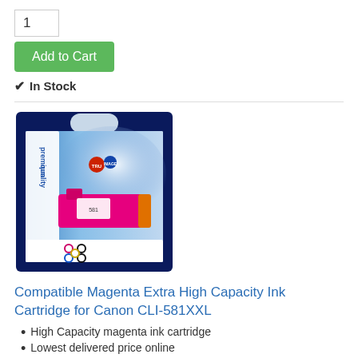1
Add to Cart
✔ In Stock
[Figure (photo): Product photo of a Compatible Magenta Extra High Capacity Ink Cartridge for Canon CLI-581XXL, shown in its retail packaging with 'premium quality' and 'TRU IMAGE' branding on a blue background.]
Compatible Magenta Extra High Capacity Ink Cartridge for Canon CLI-581XXL
High Capacity magenta ink cartridge
Lowest delivered price online